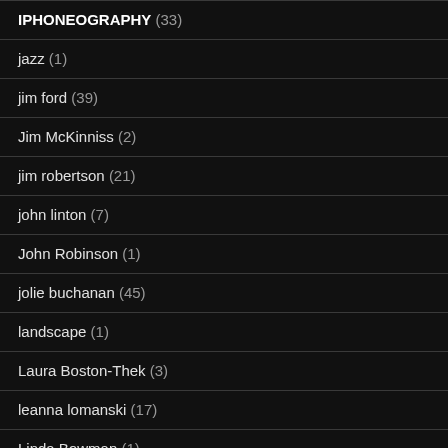IPHONEOGRAPHY (33)
jazz (1)
jim ford (39)
Jim McKinniss (2)
jim robertson (21)
john linton (7)
John Robinson (1)
jolie buchanan (45)
landscape (1)
Laura Boston-Thek (3)
leanna lomanski (17)
Linda Bowman (1)